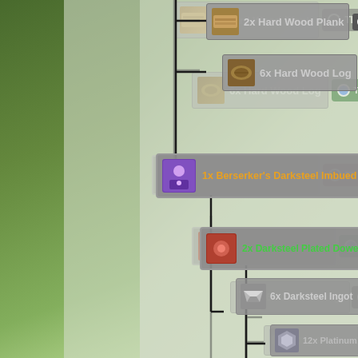[Figure (screenshot): Guild Wars 2 crafting tree screenshot showing recipe ingredients: 2x Hard Wood Plank, 6x Hard Wood Log, 1x Berserker's Darksteel Imbued (TP 78), 2x Darksteel Plated Dowel (TP 9), 6x Darksteel Ingot, 12x Platinum Ore, 6x Lump of Primordium, 4x Hard Wood Plank, 12x Hard Wood Log, 15x Vial of Thick Blood (TP 55)]